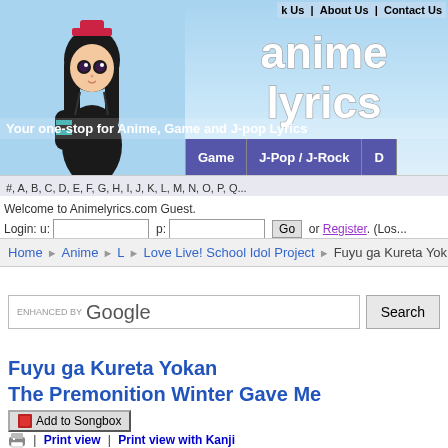[Figure (screenshot): Anime character illustration (dark-haired girl with hat) on blue gradient background with 'anime lyrics' logo text and navigation bar with Game, J-Pop/J-Rock buttons]
k Us | About Us | Contact Us
#, A, B, C, D, E, F, G, H, I, J, K, L, M, N, O, P, Q...
Welcome to Animelyrics.com Guest.
Login: u: [input] p: [input] Go or Register. (Los...
Home > Anime > L > Love Live! School Idol Project > Fuyu ga Kureta Yok...
[Figure (screenshot): Google enhanced search box with Search button]
Fuyu ga Kureta Yokan
The Premonition Winter Gave Me
Add to Songbox
| Print view | Print view with Kanji